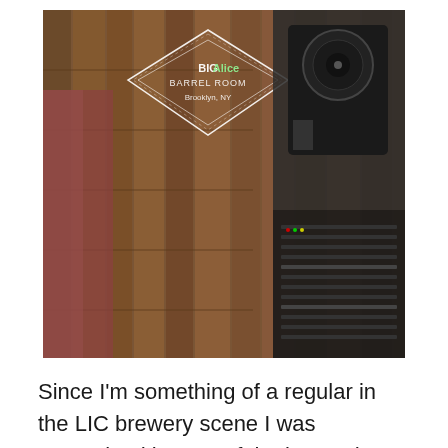[Figure (photo): Interior photo of Big Alice Barrel Room Brooklyn NY, showing a wooden wall with a diamond-shaped sign reading 'BIG ALICE BARREL ROOM Brooklyn NY' and audio equipment/speaker visible to the right.]
Since I'm something of a regular in the LIC brewery scene I was recognized by one of the bartenders. Hence the salute mentioned above. This location is much bigger than the Queens location which means room for more people, more barrels and more pups. Kelly thanked me for coming, but as a dedicated beer blogger I had to come. I asked if the live music was going to be a regular event and was told they are trying to get something going. They really should after all, someone built a stage! There is merchandise, including but not limited to a hoodie just like